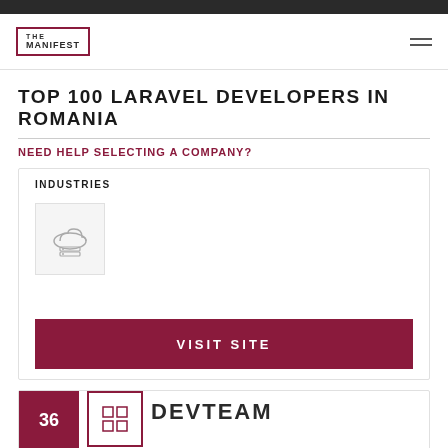THE MANIFEST
TOP 100 LARAVEL DEVELOPERS IN ROMANIA
NEED HELP SELECTING A COMPANY?
INDUSTRIES
[Figure (illustration): Cloud computing / technology icon in light gray on a light gray background box]
VISIT SITE
36
[Figure (illustration): Grid/building icon inside a crimson-bordered box]
DEVTEAM